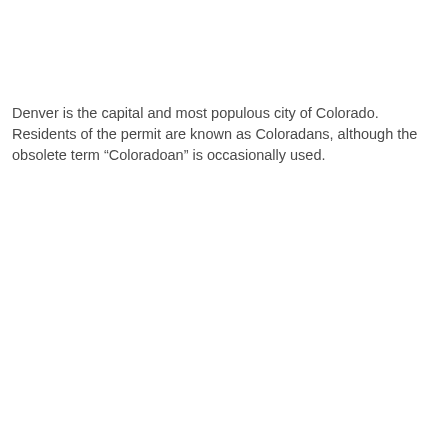Denver is the capital and most populous city of Colorado. Residents of the permit are known as Coloradans, although the obsolete term “Coloradoan” is occasionally used.